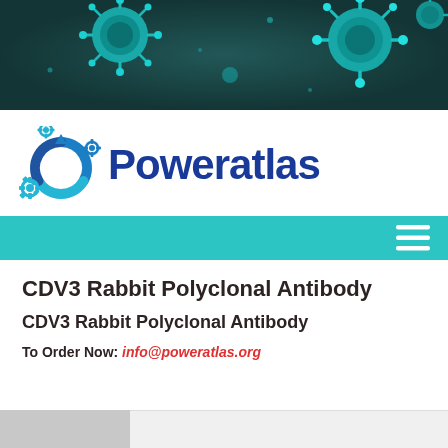[Figure (illustration): Hero banner with teal/dark background showing 3D rendered virus/coronavirus particle illustrations in teal color against dark background]
[Figure (logo): Poweratlas logo: circular gear/arrow icon in cyan and dark blue with gears, beside the text 'Poweratlas' in bold dark blue]
[Figure (other): Teal navigation bar with hamburger menu icon (three white horizontal lines) on the right]
CDV3 Rabbit Polyclonal Antibody
CDV3 Rabbit Polyclonal Antibody
To Order Now: info@poweratlas.org